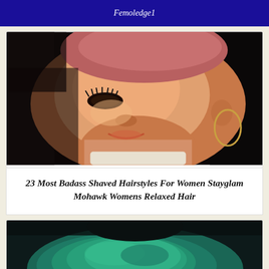Femoledge1
[Figure (photo): Close-up side profile of a Black woman with a shaved head (pink-dyed stubble on top), dramatic eye makeup with long lashes, gold hoop earring, glowing skin, wearing white top]
23 Most Badass Shaved Hairstyles For Women Stayglam Mohawk Womens Relaxed Hair
[Figure (photo): Top/back view of a person with teal/turquoise short hair against a dark blurred background]